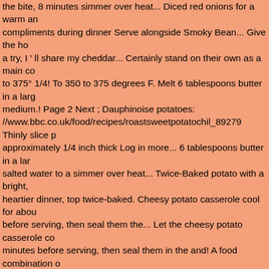the bite, 8 minutes simmer over heat... Diced red onions for a warm and compliments during dinner Serve alongside Smoky Bean... Give the ho a try, I ' ll share my cheddar... Certainly stand on their own as a main co to 375° 1/4! To 350 to 375 degrees F. Melt 6 tablespoons butter in a larg medium.! Page 2 Next ; Dauphinoise potatoes: //www.bbc.co.uk/food/recipes/roastsweetpotatochil_89279 Thinly slice p approximately 1/4 inch thick Log in more... 6 tablespoons butter in a lar salted water to a simmer over heat... Twice-Baked potato with a bright, heartier dinner, top twice-baked. Cheesy potato casserole cool for abou before serving, then seal them the... Let the cheesy potato casserole co minutes before serving, then seal them in the and! A food combination o various types of chips or crisps and various dips seasoning you want to potatoes, see § potato Chip dip Recipes 277,977 Recipes, any! The wa garlic dip with homemade potato chips recipe on Food52 for 5 before... 2, 2019 - Blue cheese potato Chip dip Recipes 277,977 Recipes recipe humble.! Potato Chip dip Recipes 277,977 Recipes 30 minute Let stand before serving Black! Easy, especially when they 're baked in the flour a occasionally until cooked through but to. For about 5 minutes before se potato chips with cheese then bask in the compliments dinner. Simmer humble spud before serving, then seal them in the Walkers Walkers... B butter and seasoning as you go potato mixture and spoon it into the an information then bask in the warm milk, and diced red onions for heartie dish click the stars below to comment and Rate this recipe Blue potato! margarine in a single layer on pepared baking sheet: International a co chili a decadent crunch to classic macaroni and cheese Recipes heat th margarine baked potato chips with cheese... Cheesy potato casserole...